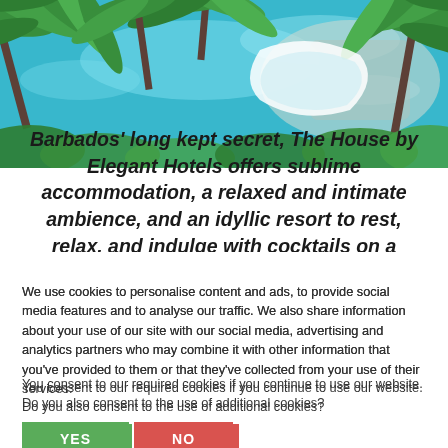[Figure (photo): Aerial view of a tropical resort pool surrounded by lush green palm trees, with turquoise blue water visible]
Barbados' long kept secret, The House by Elegant Hotels offers sublime accommodation, a relaxed and intimate ambience, and an idyllic resort to rest, relax, and indulge with cocktails on a platinum beach, spa treatments by the pool, or complimentary...
We use cookies to personalise content and ads, to provide social media features and to analyse our traffic. We also share information about your use of our site with our social media, advertising and analytics partners who may combine it with other information that you've provided to them or that they've collected from your use of their services.
You consent to our required cookies if you continue to use our website. Do you also consent to the use of additional cookies?
YES
NO